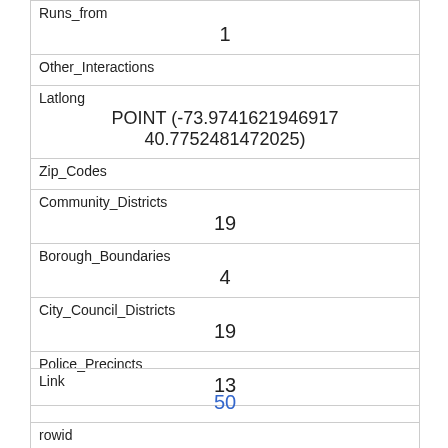| Runs_from | 1 |
| Other_Interactions |  |
| Latlong | POINT (-73.9741621946917 40.7752481472025) |
| Zip_Codes |  |
| Community_Districts | 19 |
| Borough_Boundaries | 4 |
| City_Council_Districts | 19 |
| Police_Precincts | 13 |
| Link | 50 |
| rowid | 50 |